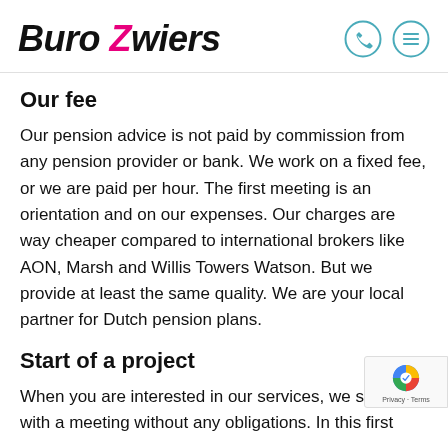Buro Zwiers
Our fee
Our pension advice is not paid by commission from any pension provider or bank. We work on a fixed fee, or we are paid per hour. The first meeting is an orientation and on our expenses. Our charges are way cheaper compared to international brokers like AON, Marsh and Willis Towers Watson. But we provide at least the same quality. We are your local partner for Dutch pension plans.
Start of a project
When you are interested in our services, we star with a meeting without any obligations. In this first